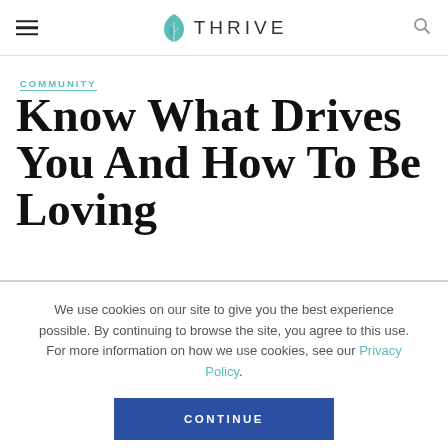THRIVE
COMMUNITY
Know What Drives You And How To Be Loving
We use cookies on our site to give you the best experience possible. By continuing to browse the site, you agree to this use. For more information on how we use cookies, see our Privacy Policy.
CONTINUE